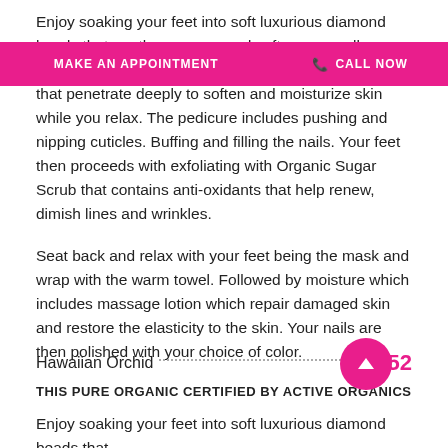Enjoy soaking your feet into soft luxurious diamond beads that gently massage and soften your calluses formulated with organic mineral enriched ingredients that penetrate deeply to soften and moisturize skin while you relax. The pedicure includes pushing and nipping cuticles. Buffing and filling the nails. Your feet then proceeds with exfoliating with Organic Sugar Scrub that contains anti-oxidants that help renew, dimish lines and wrinkles.
Seat back and relax with your feet being the mask and wrap with the warm towel. Followed by moisture which includes massage lotion which repair damaged skin and restore the elasticity to the skin. Your nails are then polished with your choice of color.
Hawaiian Orchid .............................. $52
THIS PURE ORGANIC CERTIFIED BY ACTIVE ORGANICS
Enjoy soaking your feet into soft luxurious diamond beads that